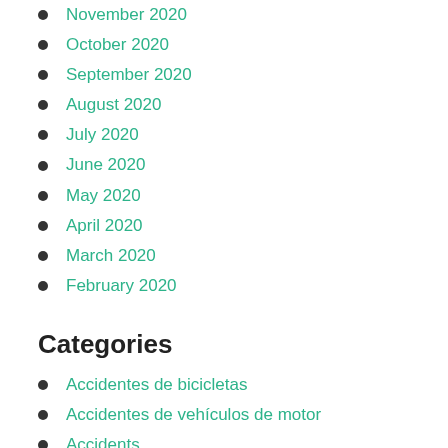November 2020
October 2020
September 2020
August 2020
July 2020
June 2020
May 2020
April 2020
March 2020
February 2020
Categories
Accidentes de bicicletas
Accidentes de vehículos de motor
Accidents
Bicycle Accidents
Car Accident
Connecticut Accident News